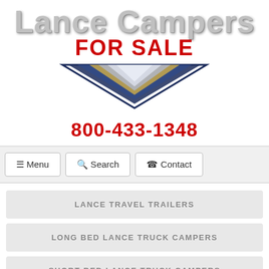[Figure (logo): Lance Campers For Sale logo with metallic text and chevron/arrow graphic in blue, silver and gold]
800-433-1348
[Figure (screenshot): Navigation bar with Menu, Search, and Contact buttons]
LANCE TRAVEL TRAILERS
LONG BED LANCE TRUCK CAMPERS
SHORT BED LANCE TRUCK CAMPERS
KZ Sportsmen LE